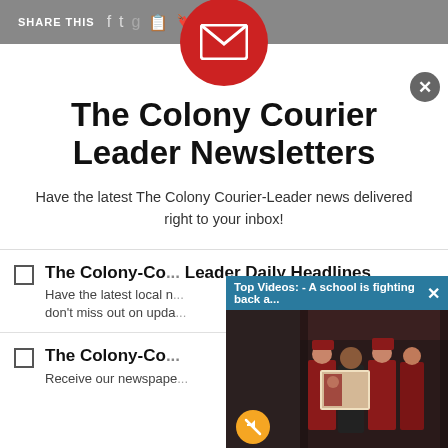SHARE THIS
[Figure (screenshot): Red circle with white envelope/mail icon centered at top of modal]
The Colony Courier Leader Newsletters
Have the latest The Colony Courier-Leader news delivered right to your inbox!
The Colony-Co... Leader Daily Headlines – Have the latest local n... don't miss out on upda...
The Colony-Co... – Receive our newspape...
[Figure (screenshot): Video popup overlay: 'Top Videos: - A school is fighting back a...' with image of people in graduation robes and a mute button]